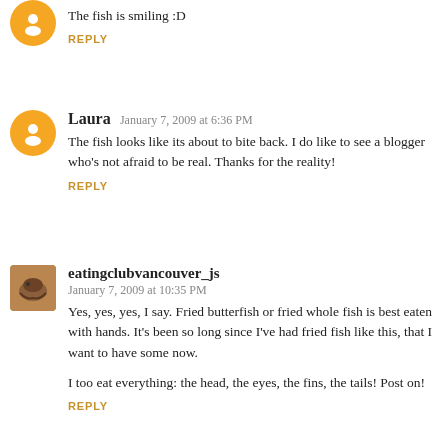The fish is smiling :D
REPLY
Laura  January 7, 2009 at 6:36 PM
The fish looks like its about to bite back. I do like to see a blogger who's not afraid to be real. Thanks for the reality!
REPLY
eatingclubvancouver_js  January 7, 2009 at 10:35 PM
Yes, yes, yes, I say. Fried butterfish or fried whole fish is best eaten with hands. It's been so long since I've had fried fish like this, that I want to have some now.
I too eat everything: the head, the eyes, the fins, the tails! Post on!
REPLY